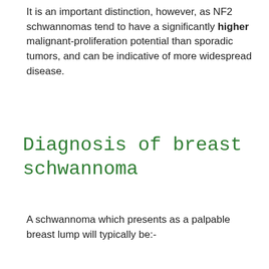It is an important distinction, however, as NF2 schwannomas tend to have a significantly higher malignant-proliferation potential than sporadic tumors, and can be indicative of more widespread disease.
Diagnosis of breast schwannoma
A schwannoma which presents as a palpable breast lump will typically be:-